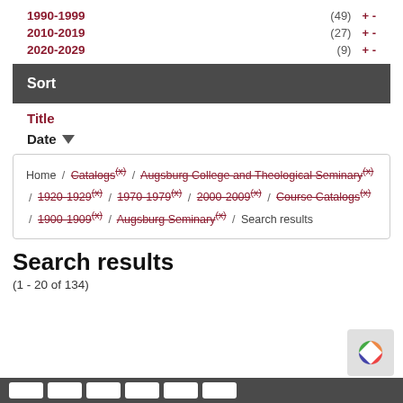1990-1999  (49)  + -
2010-2019  (27)  + -
2020-2029  (9)  + -
Sort
Title
Date ▼
Home / Catalogs(x) / Augsburg College and Theological Seminary(x) / 1920-1929(x) / 1970-1979(x) / 2000-2009(x) / Course Catalogs(x) / 1900-1909(x) / Augsburg Seminary(x) / Search results
Search results
(1 - 20 of 134)